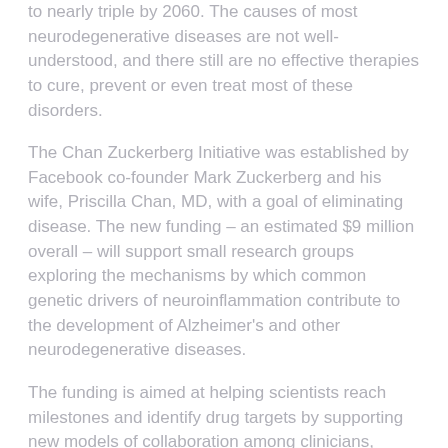to nearly triple by 2060. The causes of most neurodegenerative diseases are not well-understood, and there still are no effective therapies to cure, prevent or even treat most of these disorders.
The Chan Zuckerberg Initiative was established by Facebook co-founder Mark Zuckerberg and his wife, Priscilla Chan, MD, with a goal of eliminating disease. The new funding – an estimated $9 million overall – will support small research groups exploring the mechanisms by which common genetic drivers of neuroinflammation contribute to the development of Alzheimer's and other neurodegenerative diseases.
The funding is aimed at helping scientists reach milestones and identify drug targets by supporting new models of collaboration among clinicians, engineers, computational biologists, and scientists studying basic biology.
Rare variants in the TREM2 gene – the focus of the Washington University project – were identified about five years ago. Unlike many genes linked to Alzheimer's disease, it operates in cells in the brain called microglia.
"When TREM2 was identified, it opened up a whole new field in Alzheimer's research," said Cruchaga. "Until then, very few